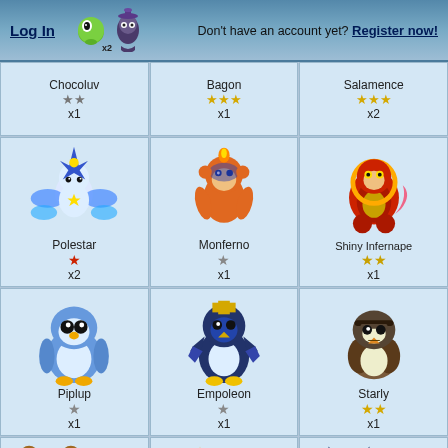Log In  Don't have an account yet? Register now!
| Col1 | Col2 | Col3 |
| --- | --- | --- |
| Chocoluv ★★ x1 | Bagon ★★★ x1 | Salamence ★★★ x2 |
| Polestar ★ x2 | Monferno ★ x1 | Shiny Infernape ★★ x1 |
| Piplup ★ x1 | Empoleon ★ x1 | Starly ★★ x1 |
| (Teddy bear pokemon) | (Blue sparkle pokemon) | (Dark mouse pokemon) |